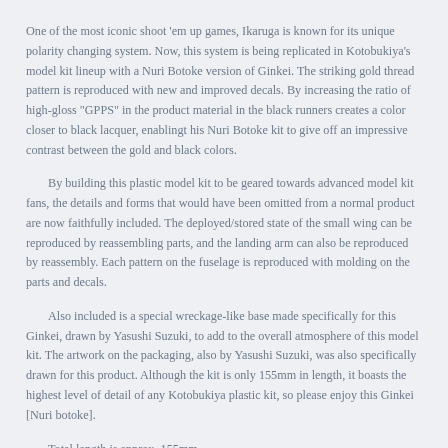One of the most iconic shoot 'em up games, Ikaruga is known for its unique polarity changing system. Now, this system is being replicated in Kotobukiya's model kit lineup with a Nuri Botoke version of Ginkei. The striking gold thread pattern is reproduced with new and improved decals. By increasing the ratio of high-gloss "GPPS" in the product material in the black runners creates a color closer to black lacquer, enablingt his Nuri Botoke kit to give off an impressive contrast between the gold and black colors.
By building this plastic model kit to be geared towards advanced model kit fans, the details and forms that would have been omitted from a normal product are now faithfully included. The deployed/stored state of the small wing can be reproduced by reassembling parts, and the landing arm can also be reproduced by reassembly. Each pattern on the fuselage is reproduced with molding on the parts and decals.
Also included is a special wreckage-like base made specifically for this Ginkei, drawn by Yasushi Suzuki, to add to the overall atmosphere of this model kit. The artwork on the packaging, also by Yasushi Suzuki, was also specifically drawn for this product. Although the kit is only 155mm in length, it boasts the highest level of detail of any Kotobukiya plastic kit, so please enjoy this Ginkei [Nuri botoke].
Total length is approx. 155mm.